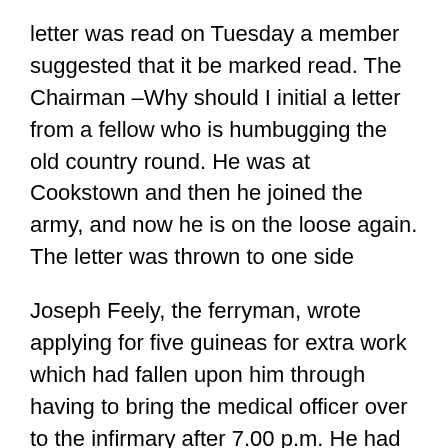letter was read on Tuesday a member suggested that it be marked read.  The Chairman –Why should I initial a letter from a fellow who is humbugging the old country round.  He was at Cookstown and then he joined the army, and now he is on the loose again.  The letter was thrown to one side
Joseph Feely, the ferryman, wrote applying for five guineas for extra work which had fallen upon him through having to bring the medical officer over to the infirmary after 7.00 p.m.  He had to bring the doctor over 42 times and he asked that he be allowed two shillings and sixpence for each journey.  The Clarke explained that this was unusual and was accounted for by the fact that the doctor had frequently to attend a serious case in the hospital.  It was decided to adjourn the matter till the